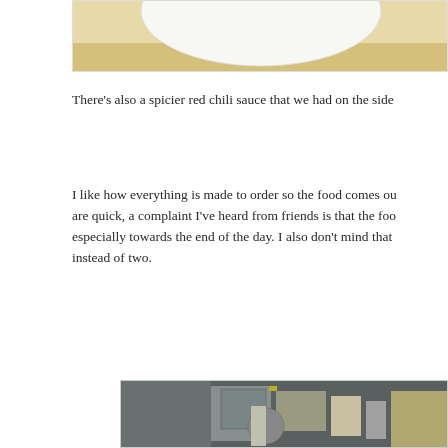[Figure (photo): Top portion of a photo showing a white plate on a wooden table surface, cropped at the top of the page]
There's also a spicier red chili sauce that we had on the side
I like how everything is made to order so the food comes ou are quick, a complaint I've heard from friends is that the foo especially towards the end of the day. I also don't mind that instead of two.
[Figure (photo): Photo of a restaurant kitchen counter with stainless steel equipment, mesh fry baskets, pots, squeeze bottles, and various cooking utensils and condiments]